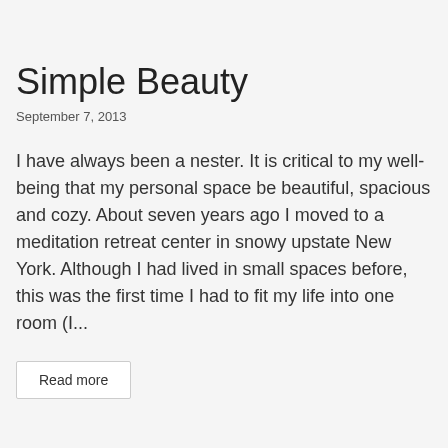Simple Beauty
September 7, 2013
I have always been a nester. It is critical to my well-being that my personal space be beautiful, spacious and cozy. About seven years ago I moved to a meditation retreat center in snowy upstate New York. Although I had lived in small spaces before, this was the first time I had to fit my life into one room (I...
Read more